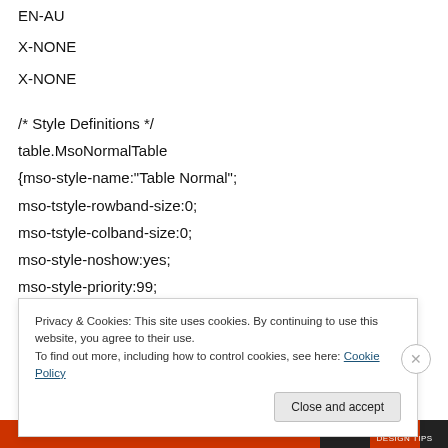EN-AU
X-NONE
X-NONE
/* Style Definitions */
table.MsoNormalTable
{mso-style-name:"Table Normal";
mso-tstyle-rowband-size:0;
mso-tstyle-colband-size:0;
mso-style-noshow:yes;
mso-style-priority:99;
mso-style-parent:"";
Privacy & Cookies: This site uses cookies. By continuing to use this website, you agree to their use.
To find out more, including how to control cookies, see here: Cookie Policy
Close and accept